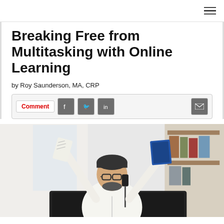Breaking Free from Multitasking with Online Learning
by Roy Saunderson, MA, CRP
Comment [social share buttons: Facebook, Twitter, LinkedIn, Email]
[Figure (photo): A man in a white shirt and glasses sitting at a desk multitasking — holding a phone to his ear, holding up a document roll in one hand and a blue book/tablet in another hand, with a laptop in front of him, in a bright office setting.]